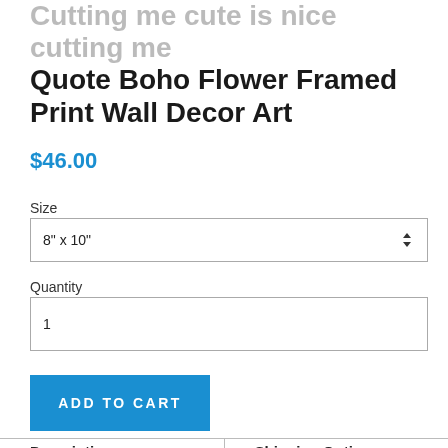Cutting me cute is nice cutting me Quote Boho Flower Framed Print Wall Decor Art
$46.00
Size
8" x 10"
Quantity
1
ADD TO CART
| Description | Shipping Options |
| --- | --- |